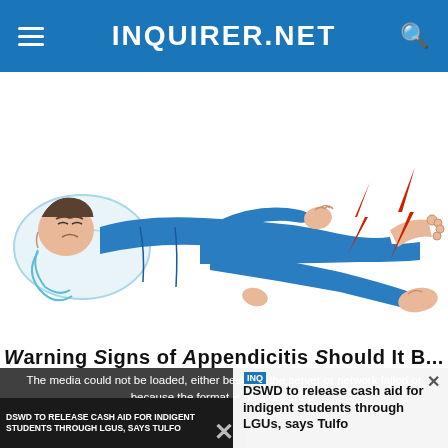INQUIRER.NET
[Figure (illustration): Illustration of a person lying in bed wearing blue pajamas, appearing to experience leg cramps or pain, with red lightning bolt symbols near the foot/ankle indicating pain.]
Warning Signs of Appendicitis Should It Be...
[Figure (screenshot): Video player overlay showing a media error message and a related article preview. Error text: 'The media could not be loaded, either because the server or network failed or because the format is not supported.' Related article title: 'DSWD to release cash aid for indigent students through LGUs, says Tulfo'. Video thumbnail shows a person. Lower caption reads: 'DSWD TO RELEASE CASH AID FOR INDIGENT STUDENTS THROUGH LGUs, SAYS TULFO']